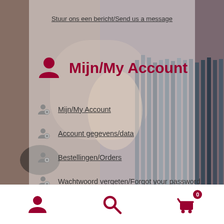[Figure (screenshot): Background photo of person browsing vinyl records, blurred]
Stuur ons een bericht/Send us a message
Mijn/My Account
Mijn/My Account
Account gegevens/data
Bestellingen/Orders
Wachtwoord vergeten/Forgot your password
[Figure (infographic): Bottom navigation bar with user icon, search icon, and shopping cart icon with badge showing 0]